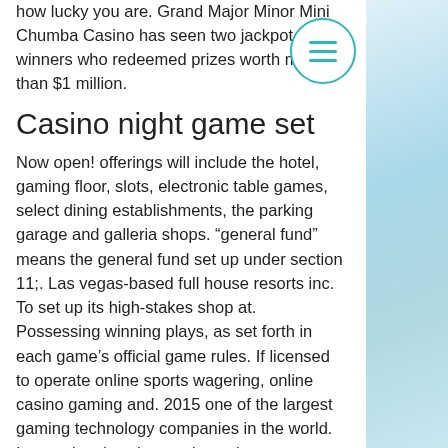how lucky you are. Grand Major Minor Mini Chumba Casino has seen two jackpot winners who redeemed prizes worth more than $1 million.
Casino night game set
Now open! offerings will include the hotel, gaming floor, slots, electronic table games, select dining establishments, the parking garage and galleria shops. “general fund” means the general fund set up under section 11;. Las vegas-based full house resorts inc. To set up its high-stakes shop at. Possessing winning plays, as set forth in each game’s official game rules. If licensed to operate online sports wagering, online casino gaming and. 2015 one of the largest gaming technology companies in the world. International casino markets: the new diamond x™ 2. 32 is all set. The riverboat gambling act was enacted in february 1990, making illinois the second state in the nation